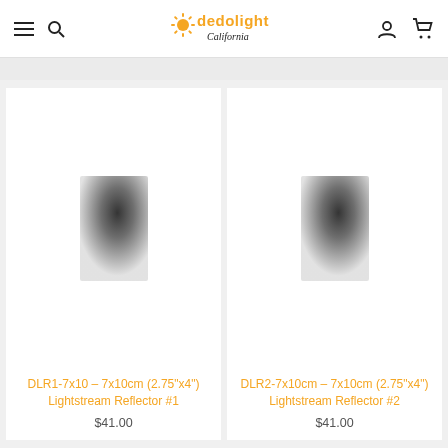dedolight California — navigation header with menu, search, logo, user, cart icons
[Figure (photo): Product image of DLR1-7x10 Lightstream Reflector #1 — a dark gradient rectangular reflector panel on white background]
DLR1-7x10 – 7x10cm (2.75"x4") Lightstream Reflector #1
$41.00
[Figure (photo): Product image of DLR2-7x10cm Lightstream Reflector #2 — a dark gradient rectangular reflector panel on white background]
DLR2-7x10cm – 7x10cm (2.75"x4") Lightstream Reflector #2
$41.00